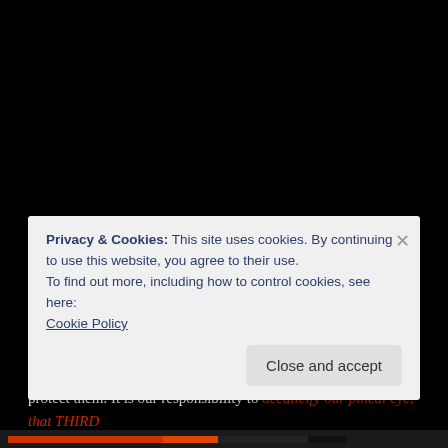Screw that!
Anyway, that’s what they are teaching our youth behind the scenes of these cartoon concoctions.
These “CHILDRENS” movies.
Unfortunately our children can’t see this at a very young age, and they are very persuadable by this nonsense. We have to protect them. It is our responsibility to decalicify our pineal eye, that THIRD
Privacy & Cookies: This site uses cookies. By continuing to use this website, you agree to their use.
To find out more, including how to control cookies, see here:
Cookie Policy
Close and accept